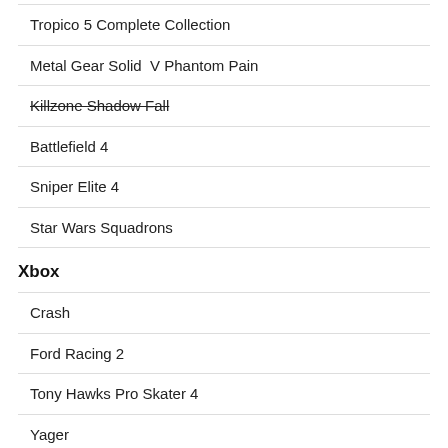| Tropico 5 Complete Collection |
| Metal Gear Solid  V Phantom Pain |
| Killzone Shadow Fall |
| Battlefield 4 |
| Sniper Elite 4 |
| Star Wars Squadrons |
Xbox
| Crash |
| Ford Racing 2 |
| Tony Hawks Pro Skater 4 |
| Yager |